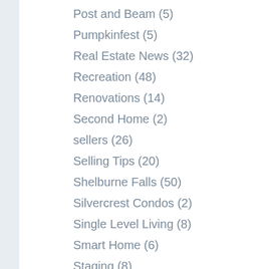Post and Beam (5)
Pumpkinfest (5)
Real Estate News (32)
Recreation (48)
Renovations (14)
Second Home (2)
sellers (26)
Selling Tips (20)
Shelburne Falls (50)
Silvercrest Condos (2)
Single Level Living (8)
Smart Home (6)
Staging (8)
Uncategorized (457)
walking trails (10)
Wanda Mooney (49)